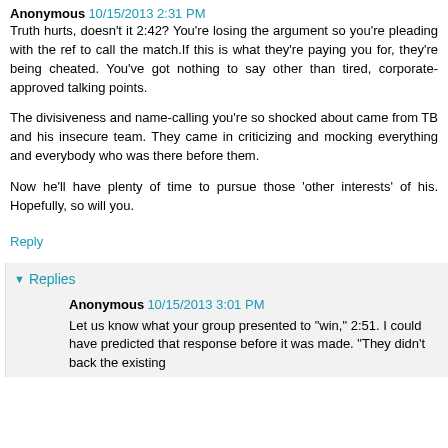Anonymous 10/15/2013 2:31 PM
Truth hurts, doesn't it 2:42? You're losing the argument so you're pleading with the ref to call the match.If this is what they're paying you for, they're being cheated. You've got nothing to say other than tired, corporate-approved talking points.
The divisiveness and name-calling you're so shocked about came from TB and his insecure team. They came in criticizing and mocking everything and everybody who was there before them.
Now he'll have plenty of time to pursue those 'other interests' of his. Hopefully, so will you.
Reply
▾ Replies
Anonymous 10/15/2013 3:01 PM
Let us know what your group presented to "win," 2:51. I could have predicted that response before it was made. "They didn't back the existing